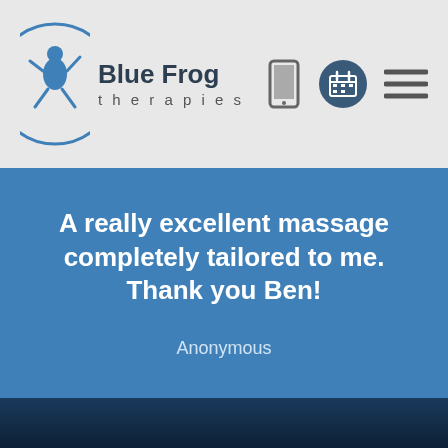Blue Frog therapies
A really excellent massage completely tailored to me. Thank you Ben!
Anonymous